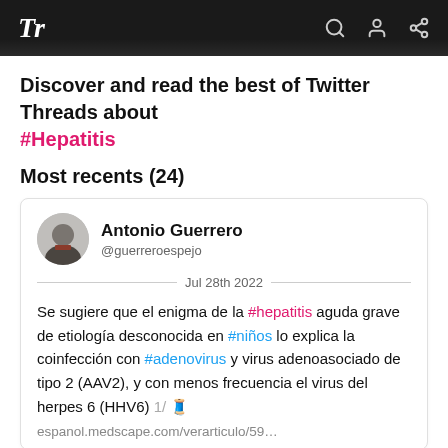Tr
Discover and read the best of Twitter Threads about #Hepatitis
Most recents (24)
Antonio Guerrero @guerreroespejo Jul 28th 2022
Se sugiere que el enigma de la #hepatitis aguda grave de etiología desconocida en #niños lo explica la coinfección con #adenovirus y virus adenoasociado de tipo 2 (AAV2), y con menos frecuencia el virus del herpes 6 (HHV6) 1/ 🧵 espanol.medscape.com/verarticulo/59…